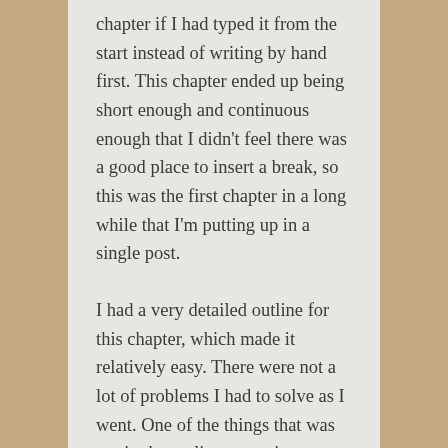chapter if I had typed it from the start instead of writing by hand first. This chapter ended up being short enough and continuous enough that I didn't feel there was a good place to insert a break, so this was the first chapter in a long while that I'm putting up in a single post.
I had a very detailed outline for this chapter, which made it relatively easy. There were not a lot of problems I had to solve as I went. One of the things that was not in the outline was minor characters. I'm starting to notice that